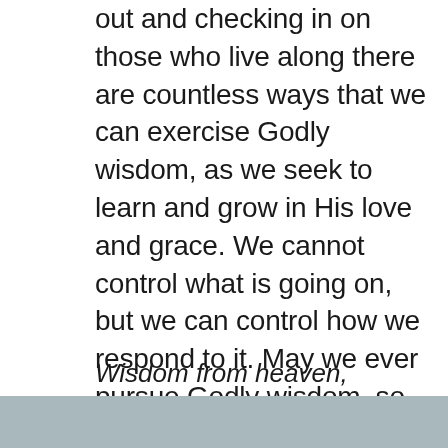out and checking in on those who live along there are countless ways that we can exercise Godly wisdom, as we seek to learn and grow in His love and grace. We cannot control what is going on, but we can control how we respond to it. May we ever pursue Godly wisdom, so that we may love purely, be filled with peace, be considerate and teachable, full of love, and do away with prejudice and hypocrisy in any form. Let love lead us in all that we say and do, so that our very lives give glory to You.
Wisdom from heaven,
[Figure (photo): Gray/teal colored image strip at the bottom of the page]